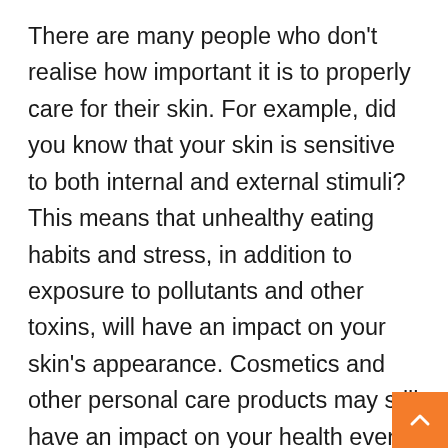There are many people who don't realise how important it is to properly care for their skin. For example, did you know that your skin is sensitive to both internal and external stimuli? This means that unhealthy eating habits and stress, in addition to exposure to pollutants and other toxins, will have an impact on your skin's appearance. Cosmetics and other personal care products may still have an impact on your health even if you are careful about what you put in your body. This is because many of the components in these products may irritate or cause allergic responses in some individuals. All of these skin problems can be avoided by using the right skincare. Here are four reasons for this